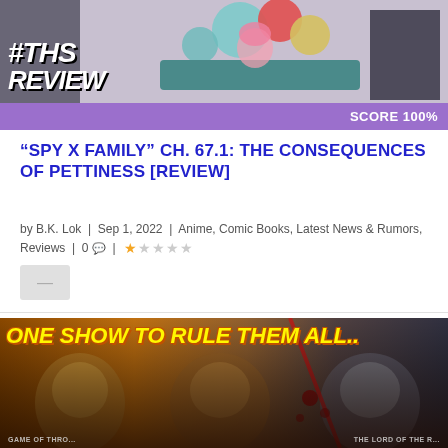[Figure (illustration): Spy x Family manga/anime review banner with #THS REVIEW text overlay, showing anime characters in a colorful scene, with a purple score bar showing SCORE 100%]
“SPY X FAMILY” CH. 67.1: THE CONSEQUENCES OF PETTINESS [REVIEW]
by B.K. Lok | Sep 1, 2022 | Anime, Comic Books, Latest News & Rumors, Reviews | 0 | star rating
[Figure (illustration): One Show to Rule Them All... banner image with fantasy/epic show characters collage]
THE LORD OF THE R...